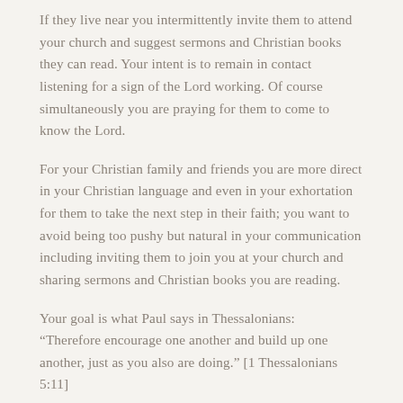If they live near you intermittently invite them to attend your church and suggest sermons and Christian books they can read. Your intent is to remain in contact listening for a sign of the Lord working. Of course simultaneously you are praying for them to come to know the Lord.
For your Christian family and friends you are more direct in your Christian language and even in your exhortation for them to take the next step in their faith; you want to avoid being too pushy but natural in your communication including inviting them to join you at your church and sharing sermons and Christian books you are reading.
Your goal is what Paul says in Thessalonians: “Therefore encourage one another and build up one another, just as you also are doing.” [1 Thessalonians 5:11]